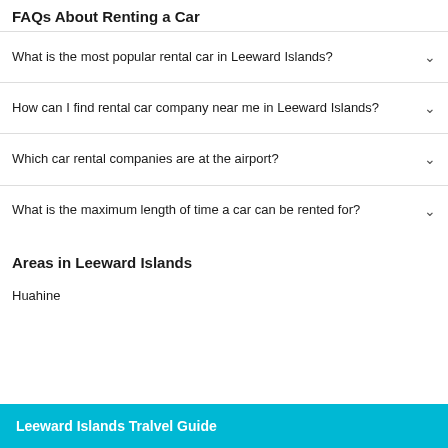FAQs About Renting a Car
What is the most popular rental car in Leeward Islands?
How can I find rental car company near me in Leeward Islands?
Which car rental companies are at the airport?
What is the maximum length of time a car can be rented for?
Areas in Leeward Islands
Huahine
Leeward Islands Tralvel Guide